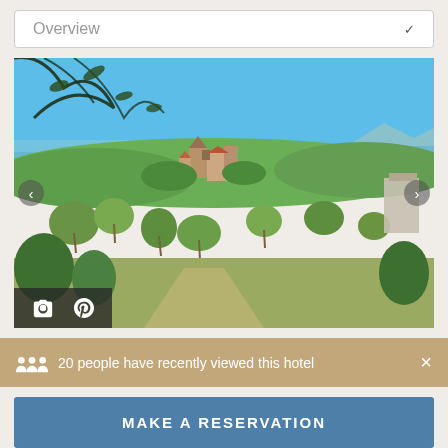Overview
[Figure (photo): Aerial landscape view of a Provençal village with stone buildings, surrounded by olive trees, lush green vegetation, with a blue sea and mountains visible in the background under a clear blue sky.]
20 people have recently viewed this hotel
MAKE A RESERVATION